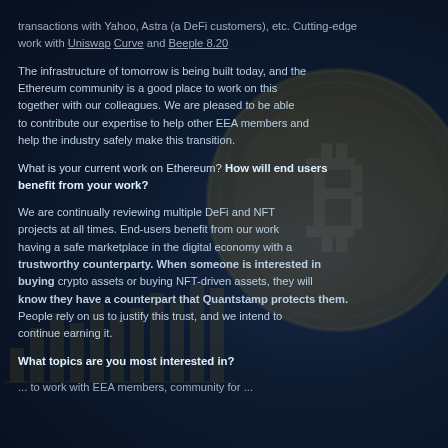transactions with Yahoo, Astra (a DeFi customers), etc. Cutting-edge work with Uniswap Curve and Beeple 8.20
The infrastructure of tomorrow is being built today, and the Ethereum community is a good place to work on this together with our colleagues. We are pleased to be able to contribute our expertise to help other EEA members and help the industry safely make this transition.
What is your current work on Ethereum? How will end users benefit from your work?
We are continually reviewing multiple DeFi and NFT projects at all times. End users benefit from our work having a safe marketplace in the digital economy with a trustworthy counterparty. When someone is interested in buying crypto assets or buying NFT-driven assets, they will know they have a counterpart that Quantstamp protects them. People rely on us to justify this trust, and we intend to continue earning it.
What topics are you most interested in?
... to work with EEA members, community for ...